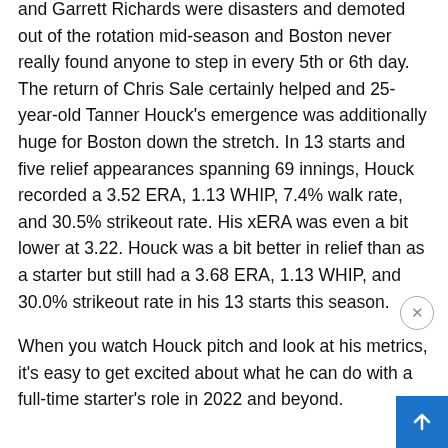and Garrett Richards were disasters and demoted out of the rotation mid-season and Boston never really found anyone to step in every 5th or 6th day. The return of Chris Sale certainly helped and 25-year-old Tanner Houck's emergence was additionally huge for Boston down the stretch. In 13 starts and five relief appearances spanning 69 innings, Houck recorded a 3.52 ERA, 1.13 WHIP, 7.4% walk rate, and 30.5% strikeout rate. His xERA was even a bit lower at 3.22. Houck was a bit better in relief than as a starter but still had a 3.68 ERA, 1.13 WHIP, and 30.0% strikeout rate in his 13 starts this season.
When you watch Houck pitch and look at his metrics, it's easy to get excited about what he can do with a full-time starter's role in 2022 and beyond.